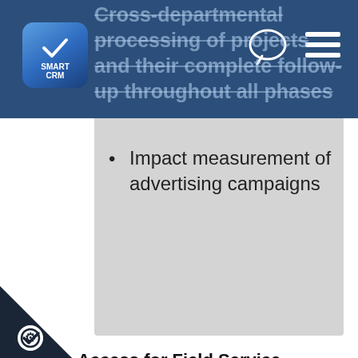[Figure (logo): Smart CRM logo: blue rounded square with checkmark and text SMART CRM]
Cross-departmental processing of projects and their complete follow-up throughout all phases
Impact measurement of advertising campaigns
Offline Access for Field Service
The field service employees are also informed of current important data related to customers or prospective customers at all times. The employees have offline access to the relevant CRM database over their notebooks. Thus, the complete activity history, the current